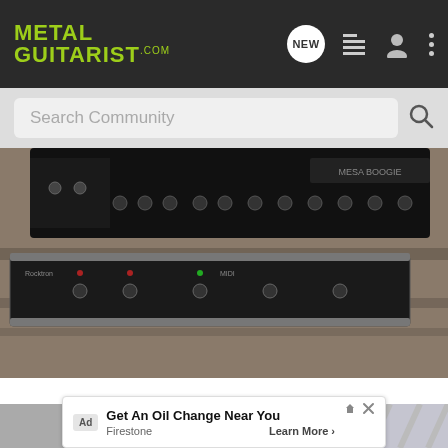METAL GUITARIST.com — navigation header with NEW, list, user, and menu icons
Search Community
[Figure (photo): Photo of a guitar amplifier head (Mesa Boogie style) and a rack-mount effects unit / footswitch controller on a carpeted floor in sunlight]
[Figure (photo): Partial photo of another guitar equipment setup, partially obscured by advertisement overlay]
Ad  Get An Oil Change Near You  Firestone  Learn More